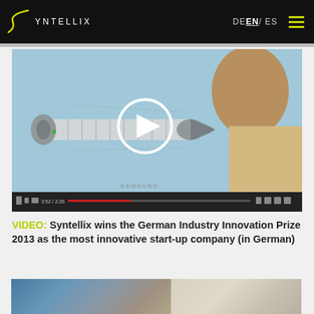SYNTELLIX | DE  EN / ES
[Figure (screenshot): Video thumbnail showing a 3D rendered screw/drill implant component with a play button overlay and YouTube video controls bar. A person is visible in the background looking at a screen.]
VIDEO: Syntellix wins the German Industry Innovation Prize 2013 as the most innovative start-up company (in German)
[Figure (photo): Partial bottom strip showing a colorful image, partially cut off at the bottom of the page.]